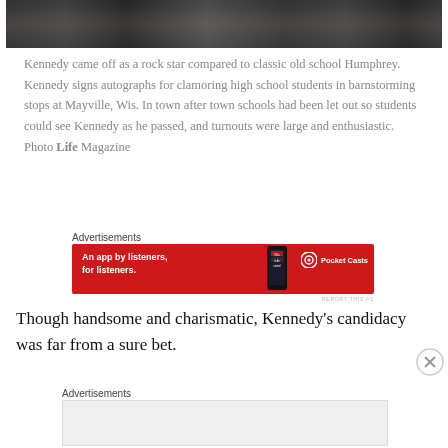[Figure (photo): Top portion of a photograph showing people with scarves, partially cropped at top of page]
Kennedy came off as a rock star compared to classic old school Humphrey. Kennedy signs autographs for clamoring high school students in barnstorming stops at Mayville, Wis. In town after town schools had been let out so students could see Kennedy as he passed, and turnouts were large and enthusiastic. Photo Life Magazine
[Figure (other): Advertisement: Pocket Casts app — 'An app by listeners, for listeners.' Red background with phone image and Pocket Casts logo]
Though handsome and charismatic, Kennedy's candidacy was far from a sure bet.
[Figure (other): Second advertisement placeholder, light gray background, empty]